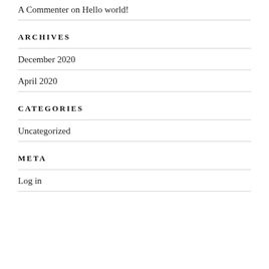A Commenter on Hello world!
ARCHIVES
December 2020
April 2020
CATEGORIES
Uncategorized
META
Log in